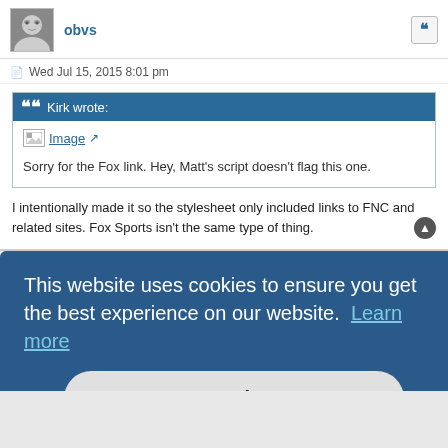obvs
Wed Jul 15, 2015 8:01 pm
Kirk wrote:
[Figure (other): Broken image placeholder labeled 'Image' with external link icon]
Sorry for the Fox link. Hey, Matt's script doesn't flag this one.
I intentionally made it so the stylesheet only included links to FNC and related sites. Fox Sports isn't the same type of thing.
This website uses cookies to ensure you get the best experience on our website.  Learn more
Got it!
radarman wrote: